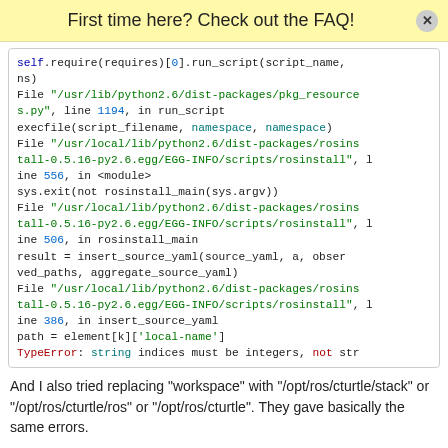First time here? Check out the FAQ!
[Figure (screenshot): Code block showing a Python traceback with syntax highlighting. Lines show self.require(requires)[0].run_script(script_name, ns), File paths in /usr/lib/python2.6 and /usr/local/lib/python2.6, execfile call, sys.exit call, result = insert_source_yaml call, path = element[k]['local-name'], and TypeError: string indices must be integers, not str]
And I also tried replacing "workspace" with "/opt/ros/cturtle/stack" or "/opt/ros/cturtle/ros" or "/opt/ros/cturtle". They gave basically the same errors.